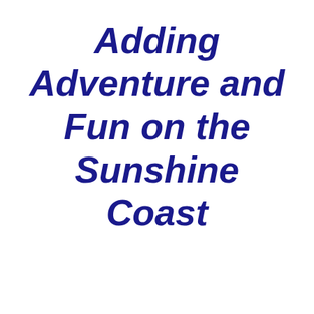Adding Adventure and Fun on the Sunshine Coast